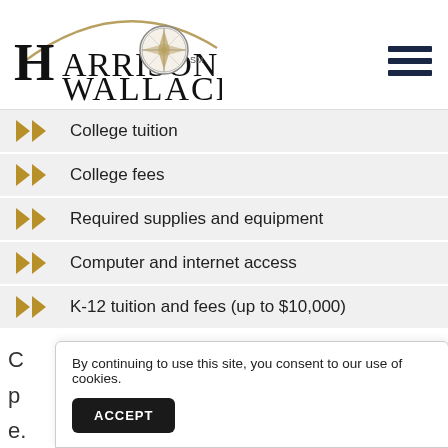[Figure (logo): Harrison Wallace company logo with compass rose icon and arc above text]
College tuition
College fees
Required supplies and equipment
Computer and internet access
K-12 tuition and fees (up to $10,000)
By continuing to use this site, you consent to our use of cookies.